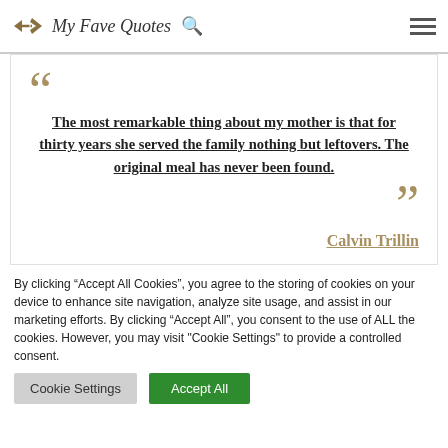My Fave Quotes
The most remarkable thing about my mother is that for thirty years she served the family nothing but leftovers. The original meal has never been found.
Calvin Trillin
By clicking “Accept All Cookies”, you agree to the storing of cookies on your device to enhance site navigation, analyze site usage, and assist in our marketing efforts. By clicking “Accept All”, you consent to the use of ALL the cookies. However, you may visit "Cookie Settings" to provide a controlled consent.